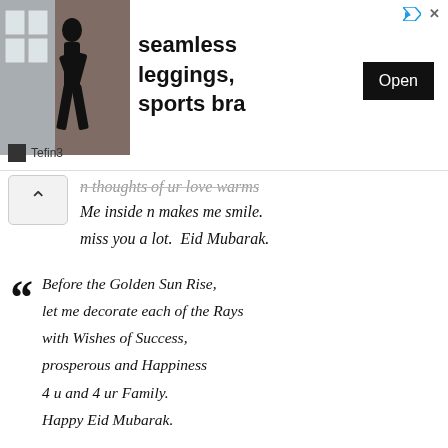[Figure (screenshot): Advertisement banner for seamless leggings and sports bra with an image of a person in athletic wear, an Open button, and a Tefin3 source label.]
n thoughts of ur love warms
Me inside n makes me smile.
miss you a lot. Eid Mubarak.
Before the Golden Sun Rise,
let me decorate each of the Rays
with Wishes of Success,
prosperous and Happiness
4 u and 4 ur Family.
Happy Eid Mubarak.
Wish you a Happy Eid and may this